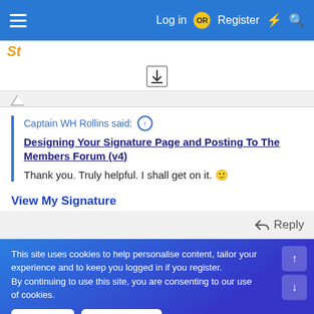Log in OR Register
Captain WH Rollins said:
Designing Your Signature Page and Posting To The Members Forum (v4)
Thank you. Truly helpful. I shall get on it. 🙂
View My Signature
Reply
This site uses cookies to help personalise content, tailor your experience and to keep you logged in if you register.
By continuing to use this site, you are consenting to our use of cookies.
Accept
Learn more...